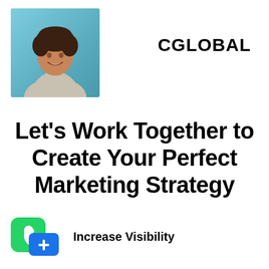[Figure (photo): Headshot of a smiling woman with curly hair, against a teal/blue background]
CGLOBAL
Let’s Work Together to Create Your Perfect Marketing Strategy
[Figure (logo): WhatsApp green icon with phone handset, and a blue square icon with a plus sign]
Increase Visibility